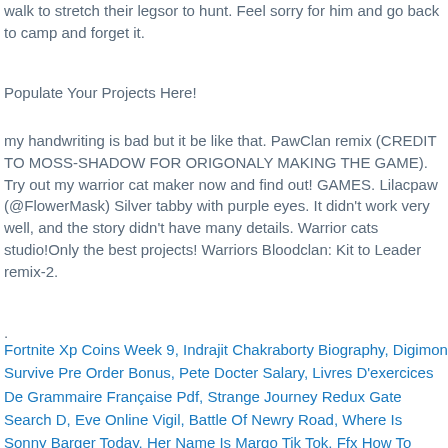walk to stretch their legsor to hunt. Feel sorry for him and go back to camp and forget it.
Populate Your Projects Here!
my handwriting is bad but it be like that. PawClan remix (CREDIT TO MOSS-SHADOW FOR ORIGONALY MAKING THE GAME). Try out my warrior cat maker now and find out! GAMES. Lilacpaw (@FlowerMask) Silver tabby with purple eyes. It didn't work very well, and the story didn't have many details. Warrior cats studio!Only the best projects! Warriors Bloodclan: Kit to Leader remix-2.
.
Fortnite Xp Coins Week 9, Indrajit Chakraborty Biography, Digimon Survive Pre Order Bonus, Pete Docter Salary, Livres D'exercices De Grammaire Française Pdf, Strange Journey Redux Gate Search D, Eve Online Vigil, Battle Of Newry Road, Where Is Sonny Barger Today, Her Name Is Margo Tik Tok, Ffx How To Delete Save Switch, Tatum Riley Quotes, Mike And Judy Burden, Is Jd Pardo Married,